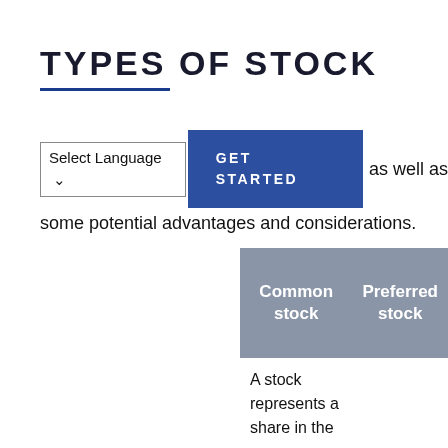TYPES OF STOCK
...markets... as well as some potential advantages and considerations.
|  | Common stock | Preferred stock |
| --- | --- | --- |
|  | A stock represents a share in the... |  |